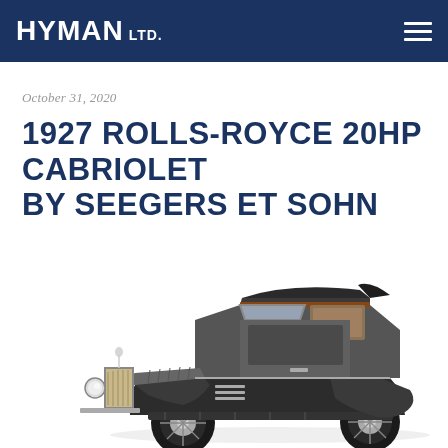HYMAN LTD.
October 31, 2020
1927 ROLLS-ROYCE 20HP CABRIOLET BY SEEGERS ET SOHN
[Figure (photo): A 1927 Rolls-Royce 20HP Cabriolet by Seegers et Sohn, dark grey/black two-tone color, shown in three-quarter front view on a white background]